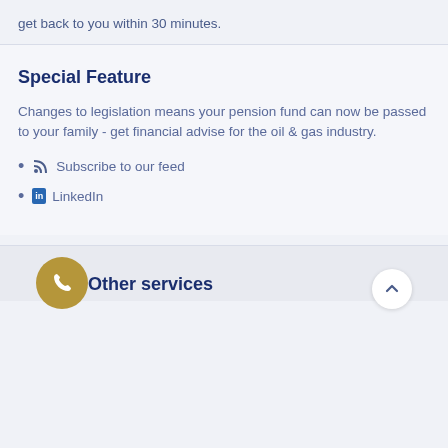get back to you within 30 minutes.
Special Feature
Changes to legislation means your pension fund can now be passed to your family - get financial advise for the oil & gas industry.
Subscribe to our feed
LinkedIn
Other services